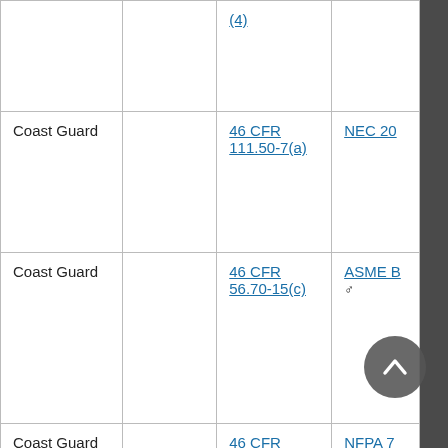| Agency |  | Regulatory Citation | Consensus Standard |
| --- | --- | --- | --- |
|  |  | (4) |  |
| Coast Guard |  | 46 CFR 111.50-7(a) | NEC 20... |
| Coast Guard |  | 46 CFR 56.70-15(c) | ASME B... ♂ |
| Coast Guard |  | 46 CFR 39.2009(a)(1)(iii)(B) | NFPA 7... |
| Coast Guard |  | 46 CFR 111.75-17(d)(2) |  |